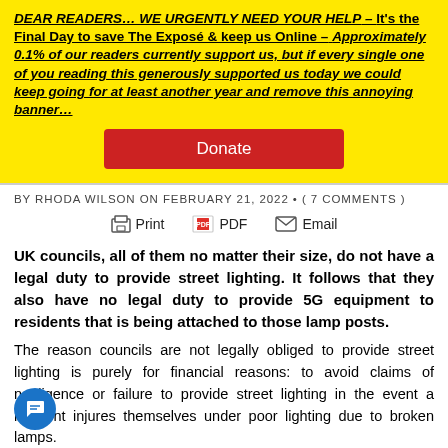DEAR READERS… WE URGENTLY NEED YOUR HELP – It's the Final Day to save The Exposé & keep us Online – Approximately 0.1% of our readers currently support us, but if every single one of you reading this generously supported us today we could keep going for at least another year and remove this annoying banner…
Donate
BY RHODA WILSON ON FEBRUARY 21, 2022 • ( 7 COMMENTS )
Print  PDF  Email
UK councils, all of them no matter their size, do not have a legal duty to provide street lighting. It follows that they also have no legal duty to provide 5G equipment to residents that is being attached to those lamp posts.
The reason councils are not legally obliged to provide street lighting is purely for financial reasons: to avoid claims of negligence or failure to provide street lighting in the event a resident injures themselves under poor lighting due to broken lamps.